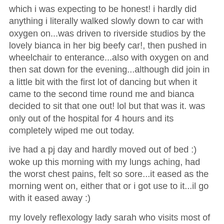which i was expecting to be honest! i hardly did anything i literally walked slowly down to car with oxygen on...was driven to riverside studios by the lovely bianca in her big beefy car!, then pushed in wheelchair to enterance...also with oxygen on and then sat down for the evening...although did join in a little bit with the first lot of dancing but when it came to the second time round me and bianca decided to sit that one out! lol but that was it. was only out of the hospital for 4 hours and its completely wiped me out today.
ive had a pj day and hardly moved out of bed :)
woke up this morning with my lungs aching, had the worst chest pains, felt so sore...it eased as the morning went on, either that or i got use to it...il go with it eased away :)
my lovely reflexology lady sarah who visits most of the patients on the ward poped her head in around 1ish and iv never been so happy to see someone! she makes u feel amazing! shes a little touch of heaven!!
[Figure (photo): A photo showing a person with dark hair seated, with a framed picture on the wall behind them and a red/pink TV or monitor visible to the right.]